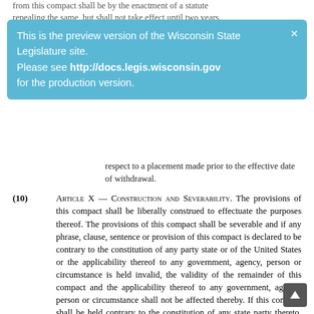from this compact shall be by the enactment of a statute repealing the same, but shall not take effect until two years
[Figure (screenshot): Preview banner overlay: 'This is the preview version of the Wisconsin State Legislature site. Please see http://docs.legis.wisconsin.gov for the production version.' with close X button on blue background.]
respect to a placement made prior to the effective date of withdrawal.
(10) Article X — Construction and Severability. The provisions of this compact shall be liberally construed to effectuate the purposes thereof. The provisions of this compact shall be severable and if any phrase, clause, sentence or provision of this compact is declared to be contrary to the constitution of any party state or of the United States or the applicability thereof to any government, agency, person or circumstance is held invalid, the validity of the remainder of this compact and the applicability thereof to any government, agency, person or circumstance shall not be affected thereby. If this compact shall be held contrary to the constitution of any state party thereto, the compact shall remain in full force and effect as to the remaining states and in full force and effect as to the state affected as to all severable matters.
(11) Financial responsibility. Financial responsibility for any child placed under the interstate compact on the placement of children shall be determined in accordance with sub. (5) in the first instance. However, in the absence of a pertinent agreement